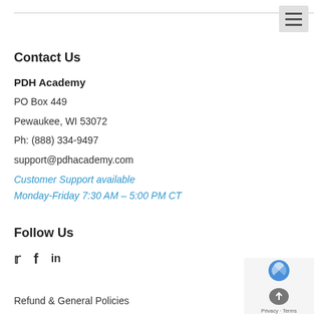Contact Us
PDH Academy
PO Box 449
Pewaukee, WI 53072
Ph: (888) 334-9497
support@pdhacademy.com
Customer Support available
Monday-Friday 7:30 AM – 5:00 PM CT
Follow Us
Refund & General Policies